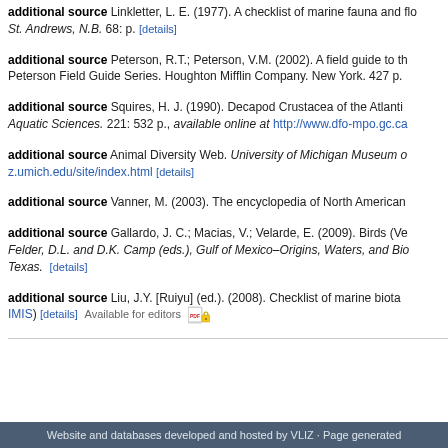additional source Linkletter, L. E. (1977). A checklist of marine fauna and flora of the Bay of Fundy. Department of Biology, University of New Brunswick, St. Andrews, N.B. 68: p. [details]
additional source Peterson, R.T.; Peterson, V.M. (2002). A field guide to the birds of Eastern and Central North America. Peterson Field Guide Series. Houghton Mifflin Company. New York. 427 p.
additional source Squires, H. J. (1990). Decapod Crustacea of the Atlantic coast of Canada. Canadian Bulletin of Fisheries and Aquatic Sciences. 221: 532 p., available online at http://www.dfo-mpo.gc.ca
additional source Animal Diversity Web. University of Michigan Museum of Zoology. z.umich.edu/site/index.html [details]
additional source Vanner, M. (2003). The encyclopedia of North American
additional source Gallardo, J. C.; Macias, V.; Velarde, E. (2009). Birds (Ves...) in: Felder, D.L. and D.K. Camp (eds.), Gulf of Mexico–Origins, Waters, and Bio... Texas. [details]
additional source Liu, J.Y. [Ruiyu] (ed.). (2008). Checklist of marine biota of China Seas. (stored in IMIS) [details] Available for editors
Website and databases developed and hosted by VLIZ · Page generated